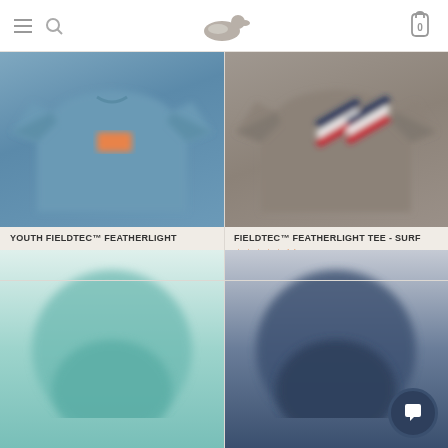Navigation header with hamburger menu, search icon, duck logo, and cart icon (0 items)
[Figure (illustration): Blue long-sleeve shirt product image]
YOUTH FIELDTEC™ FEATHERLIGHT
$49.00
[Figure (illustration): Color swatches: navy blue and teal/mint]
[Figure (illustration): Grey long-sleeve shirt product image with striped design on chest]
FIELDTEC™ FEATHERLIGHT TEE - SURF
★★★★★ (1)
$49.00
[Figure (illustration): Color swatches: grey and peach/salmon]
[Figure (illustration): Teal/mint colored product image (bottom left, partially visible)]
[Figure (illustration): Navy blue product image (bottom right, partially visible)]